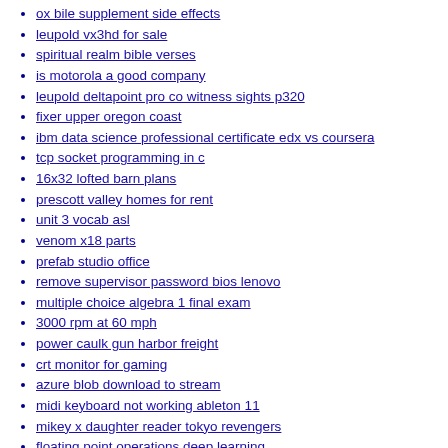ox bile supplement side effects
leupold vx3hd for sale
spiritual realm bible verses
is motorola a good company
leupold deltapoint pro co witness sights p320
fixer upper oregon coast
ibm data science professional certificate edx vs coursera
tcp socket programming in c
16x32 lofted barn plans
prescott valley homes for rent
unit 3 vocab asl
venom x18 parts
prefab studio office
remove supervisor password bios lenovo
multiple choice algebra 1 final exam
3000 rpm at 60 mph
power caulk gun harbor freight
crt monitor for gaming
azure blob download to stream
midi keyboard not working ableton 11
mikey x daughter reader tokyo revengers
floating point operations deep learning
baikal shotgun repair
no flux boundary condition finite difference
olx jobs in factory